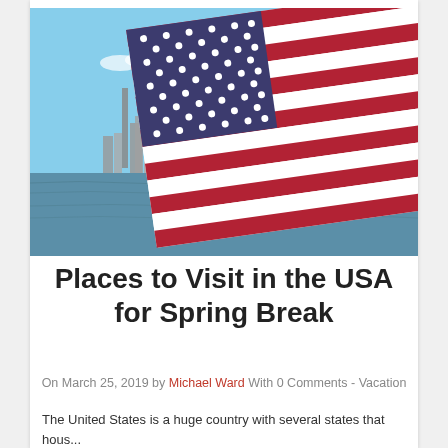[Figure (photo): American flag waving in the foreground with a city skyline (New York) and water in the background under a blue sky]
Places to Visit in the USA for Spring Break
On March 25, 2019 by Michael Ward With 0 Comments - Vacation
The United States is a huge country with several states that hous...